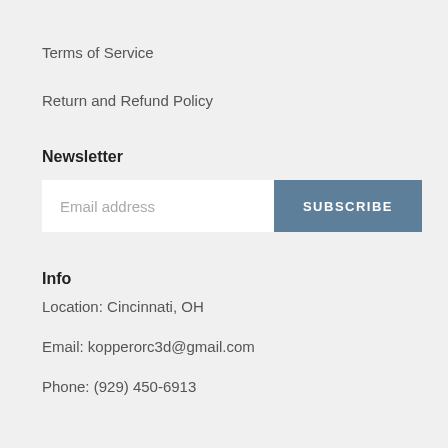Terms of Service
Return and Refund Policy
Newsletter
Email address  SUBSCRIBE
Info
Location: Cincinnati, OH
Email: kopperorc3d@gmail.com
Phone: (929) 450-6913